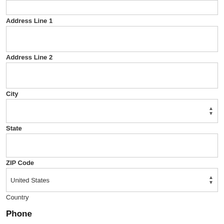[Figure (other): Empty form input field (top, partially cropped)]
Address Line 1
[Figure (other): Empty text input field for Address Line 1]
Address Line 2
[Figure (other): Empty text input field for Address Line 2]
City
[Figure (other): Dropdown/select field for City with spinner arrows]
State
[Figure (other): Empty text input field for ZIP Code]
ZIP Code
[Figure (other): Dropdown select field showing 'United States' with spinner arrows]
Country
Phone